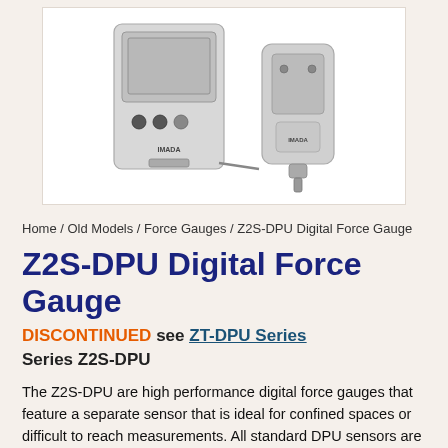[Figure (photo): Product photo of IMADA Z2S-DPU Digital Force Gauge showing two white/grey gauge units with the sensor and main display unit connected, on a white background.]
Home / Old Models / Force Gauges / Z2S-DPU Digital Force Gauge
Z2S-DPU Digital Force Gauge
DISCONTINUED see ZT-DPU Series
Series Z2S-DPU
The Z2S-DPU are high performance digital force gauges that feature a separate sensor that is ideal for confined spaces or difficult to reach measurements. All standard DPU sensors are good for both compression and tension. A standard six foot cable connects the gauge to the sensor.
The Z2S-DPU unit offers programmable high/low setpoints for go/no-go testing. ORANGE lights up for measurements less than Low setpoint, GREEN for between High and Low setpoint, and